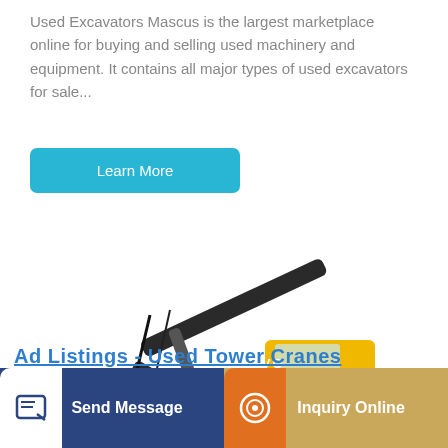Used Excavators Mascus is the largest marketplace online for buying and selling used machinery and equipment. It contains all major types of used excavators for sale...
Learn More
[Figure (photo): Yellow and black Volvo excavator on white background, side view showing arm, bucket, cab and tracks]
Send Message
Inquiry Online
Ad Listings - Used Tower Cranes